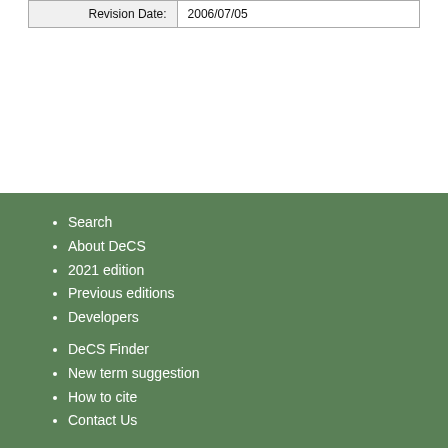| Revision Date: | 2006/07/05 |
Search
About DeCS
2021 edition
Previous editions
Developers
DeCS Finder
New term suggestion
How to cite
Contact Us
Terms and conditions of use Privacy policy